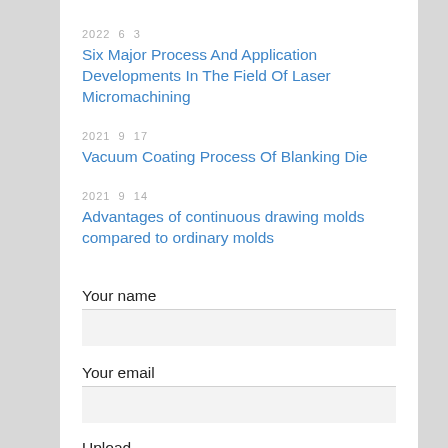2022  6  3
Six Major Process And Application Developments In The Field Of Laser Micromachining
2021  9  17
Vacuum Coating Process Of Blanking Die
2021  9  14
Advantages of continuous drawing molds compared to ordinary molds
Your name
Your email
Upload